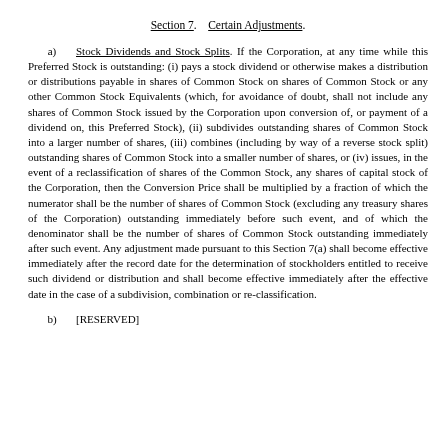Section 7.    Certain Adjustments.
a)    Stock Dividends and Stock Splits. If the Corporation, at any time while this Preferred Stock is outstanding: (i) pays a stock dividend or otherwise makes a distribution or distributions payable in shares of Common Stock on shares of Common Stock or any other Common Stock Equivalents (which, for avoidance of doubt, shall not include any shares of Common Stock issued by the Corporation upon conversion of, or payment of a dividend on, this Preferred Stock), (ii) subdivides outstanding shares of Common Stock into a larger number of shares, (iii) combines (including by way of a reverse stock split) outstanding shares of Common Stock into a smaller number of shares, or (iv) issues, in the event of a reclassification of shares of the Common Stock, any shares of capital stock of the Corporation, then the Conversion Price shall be multiplied by a fraction of which the numerator shall be the number of shares of Common Stock (excluding any treasury shares of the Corporation) outstanding immediately before such event, and of which the denominator shall be the number of shares of Common Stock outstanding immediately after such event. Any adjustment made pursuant to this Section 7(a) shall become effective immediately after the record date for the determination of stockholders entitled to receive such dividend or distribution and shall become effective immediately after the effective date in the case of a subdivision, combination or re-classification.
b)    [RESERVED]